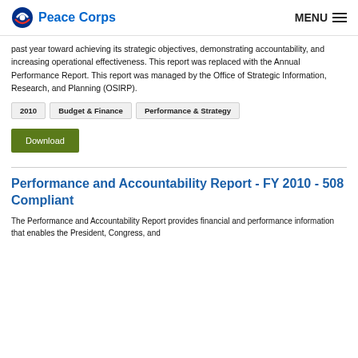Peace Corps | MENU
past year toward achieving its strategic objectives, demonstrating accountability, and increasing operational effectiveness. This report was replaced with the Annual Performance Report. This report was managed by the Office of Strategic Information, Research, and Planning (OSIRP).
2010
Budget & Finance
Performance & Strategy
Download
Performance and Accountability Report - FY 2010 - 508 Compliant
The Performance and Accountability Report provides financial and performance information that enables the President, Congress, and